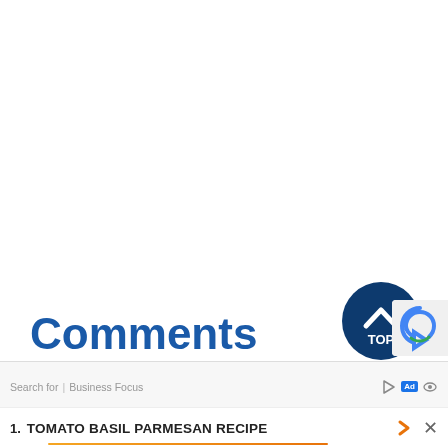[Figure (other): Dark blue circular 'TOP' button with upward chevron arrow icon]
Comments
Search for | Business Focus
1. TOMATO BASIL PARMESAN RECIPE